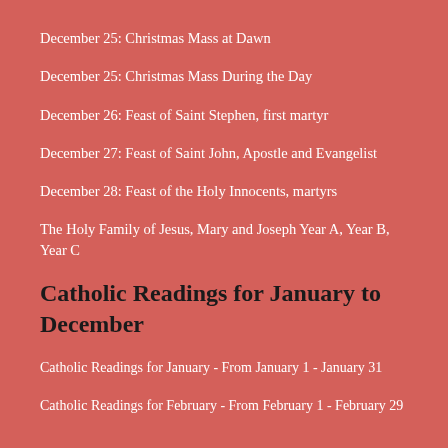December 25: Christmas Mass at Dawn
December 25: Christmas Mass During the Day
December 26: Feast of Saint Stephen, first martyr
December 27: Feast of Saint John, Apostle and Evangelist
December 28: Feast of the Holy Innocents, martyrs
The Holy Family of Jesus, Mary and Joseph Year A, Year B, Year C
Catholic Readings for January to December
Catholic Readings for January - From January 1 - January 31
Catholic Readings for February - From February 1 - February 29